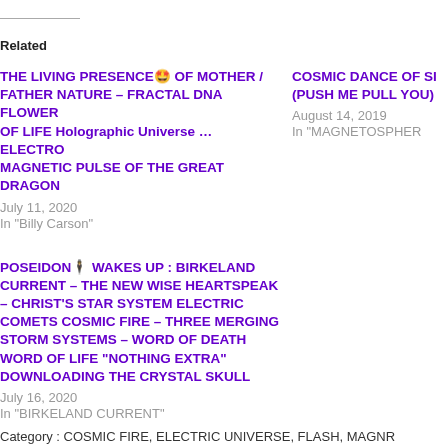Related
THE LIVING PRESENCE🤩 OF MOTHER / FATHER NATURE – FRACTAL DNA FLOWER OF LIFE Holographic Universe … ELECTRO MAGNETIC PULSE OF THE GREAT DRAGON
July 11, 2020
In "Billy Carson"
COSMIC DANCE OF S… (PUSH ME PULL YOU)…
August 14, 2019
In "MAGNETOSPHER…"
POSEIDON👤 WAKES UP : BIRKELAND CURRENT – THE NEW WISE HEARTSPEAK – CHRIST’S STAR SYSTEM ELECTRIC COMETS COSMIC FIRE – THREE MERGING STORM SYSTEMS – WORD OF DEATH WORD OF LIFE "NOTHING EXTRA" DOWNLOADING THE CRYSTAL SKULL
July 16, 2020
In "BIRKELAND CURRENT"
Category : COSMIC FIRE, ELECTRIC UNIVERSE, FLASH, MAGN…